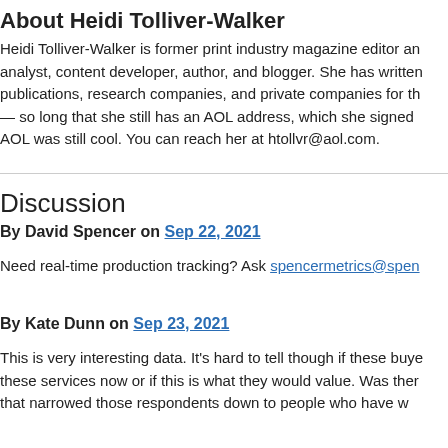About Heidi Tolliver-Walker
Heidi Tolliver-Walker is former print industry magazine editor and analyst, content developer, author, and blogger. She has written for publications, research companies, and private companies for the — so long that she still has an AOL address, which she signed AOL was still cool. You can reach her at htollvr@aol.com.
Discussion
By David Spencer on Sep 22, 2021
Need real-time production tracking? Ask spencermetrics@spen
By Kate Dunn on Sep 23, 2021
This is very interesting data. It's hard to tell though if these buyers use these services now or if this is what they would value. Was there that narrowed those respondents down to people who have w